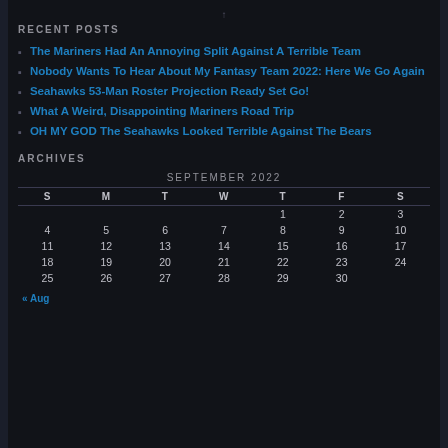RECENT POSTS
The Mariners Had An Annoying Split Against A Terrible Team
Nobody Wants To Hear About My Fantasy Team 2022: Here We Go Again
Seahawks 53-Man Roster Projection Ready Set Go!
What A Weird, Disappointing Mariners Road Trip
OH MY GOD The Seahawks Looked Terrible Against The Bears
ARCHIVES
| S | M | T | W | T | F | S |
| --- | --- | --- | --- | --- | --- | --- |
|  |  |  |  | 1 | 2 | 3 |
| 4 | 5 | 6 | 7 | 8 | 9 | 10 |
| 11 | 12 | 13 | 14 | 15 | 16 | 17 |
| 18 | 19 | 20 | 21 | 22 | 23 | 24 |
| 25 | 26 | 27 | 28 | 29 | 30 |  |
« Aug